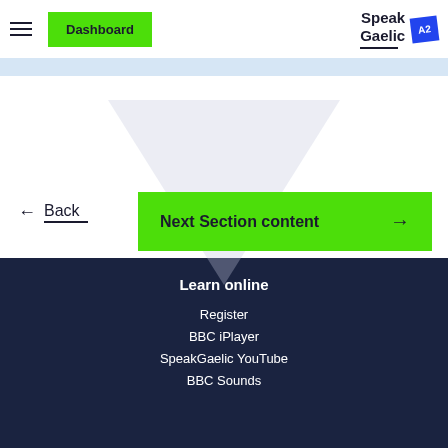Dashboard | Speak Gaelic A2
Back
Next Section content
Learn online
Register
BBC iPlayer
SpeakGaelic YouTube
BBC Sounds